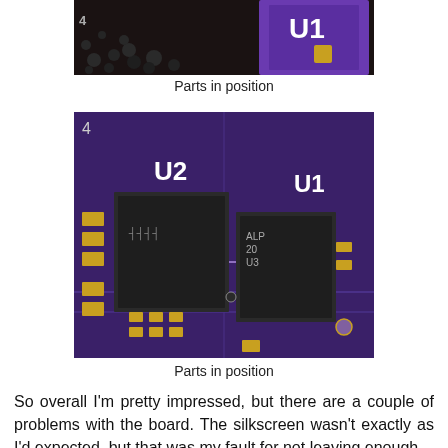[Figure (photo): Close-up photo of electronic components (chips/ICs) positioned on a purple PCB circuit board with solder balls visible]
Parts in position
[Figure (photo): Macro close-up photo of a purple PCB showing two IC chips labeled U2 and U1 (with ALP 20 U3 markings), gold pads, and PCB traces]
Parts in position
So overall I'm pretty impressed, but there are a couple of problems with the board. The silkscreen wasn't exactly as I'd expected, but that was my fault for not leaving enough